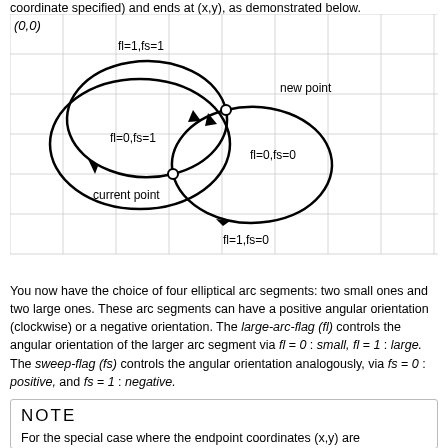coordinate specified) and ends at (x,y), as demonstrated below.
[Figure (engineering-diagram): Diagram showing four elliptical arc segments between a current point and a new point on a coordinate grid. Each arc is labeled with fl and fs flag values: fl=1,fs=1 (top), fl=0,fs=1 (left large arc), fl=0,fs=0 (right small arc), fl=1,fs=0 (bottom). The current point and new point are marked with small circles. Arrows indicate arc direction.]
You now have the choice of four elliptical arc segments: two small ones and two large ones. These arc segments can have a positive angular orientation (clockwise) or a negative orientation. The large-arc-flag (fl) controls the angular orientation of the larger arc segment via fl = 0 : small, fl = 1 : large. The sweep-flag (fs) controls the angular orientation analogously, via fs = 0 : positive, and fs = 1 : negative.
NOTE
For the special case where the endpoint coordinates (x,y) are